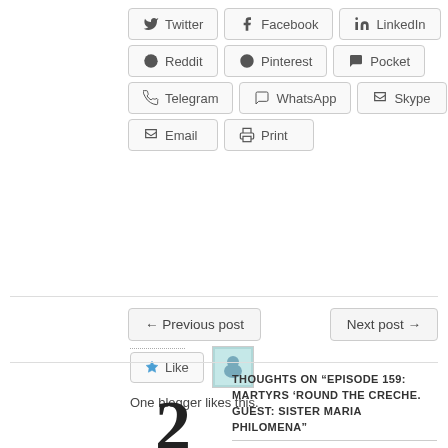[Figure (other): Social share buttons: Twitter, Facebook, LinkedIn, Reddit, Pinterest, Pocket, Telegram, WhatsApp, Skype, Email, Print]
Like this:
[Figure (other): Like button widget with star icon and blogger avatar thumbnail. Text: One blogger likes this.]
One blogger likes this.
← Previous post
Next post →
THOUGHTS ON “EPISODE 159: MARTYRS ‘ROUND THE CRECHE. GUEST: SISTER MARIA PHILOMENA”
2